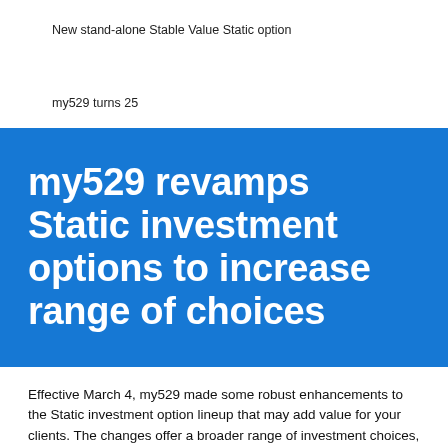New stand-alone Stable Value Static option
my529 turns 25
my529 revamps Static investment options to increase range of choices
Effective March 4, my529 made some robust enhancements to the Static investment option lineup that may add value for your clients. The changes offer a broader range of investment choices, enhance diversification, and reduce investment